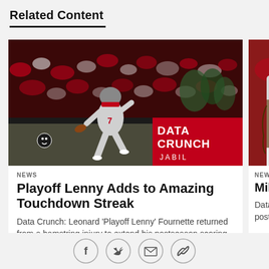Related Content
[Figure (photo): Football player in Tampa Bay Buccaneers uniform running with the ball, stadium crowd in background. DATA CRUNCH JABIL logo overlay in bottom right.]
NEWS
Playoff Lenny Adds to Amazing Touchdown Streak
Data Crunch: Leonard 'Playoff Lenny' Fournette returned from a hamstring injury to extend his postseason scoring streak to seven games and also accomplish a first-team feat
[Figure (photo): Partial photo of Tampa Bay Buccaneers player (Mike Evans) in uniform, partially cropped.]
NEWS
Mike Eva Ground
Data Crunch: receiver is no postseason re Rob Gronkow